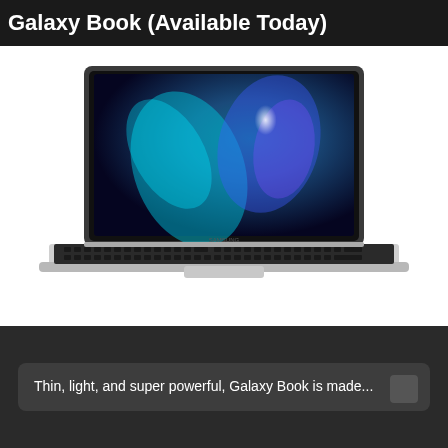Galaxy Book (Available Today)
[Figure (photo): Samsung Galaxy Book laptop open, showing a dark screen with teal and blue abstract wallpaper, silver aluminum body with black keyboard]
Thin, light, and super powerful, Galaxy Book is made...